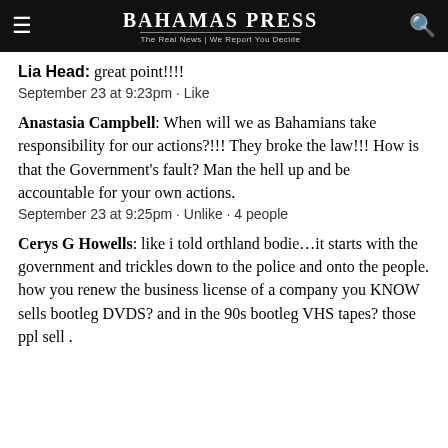Bahamas Press | The Real News | We Report You Decide
Lia Head: great point!!!!
September 23 at 9:23pm · Like
Anastasia Campbell: When will we as Bahamians take responsibility for our actions?!!! They broke the law!!! How is that the Government's fault? Man the hell up and be accountable for your own actions.
September 23 at 9:25pm · Unlike ·  4 people
Cerys G Howells:  like i told orthland bodie…it starts with the government and trickles down to the police and onto the people. how you renew the business license of a company you KNOW sells bootleg DVDS? and in the 90s bootleg VHS tapes? those ppl sell .